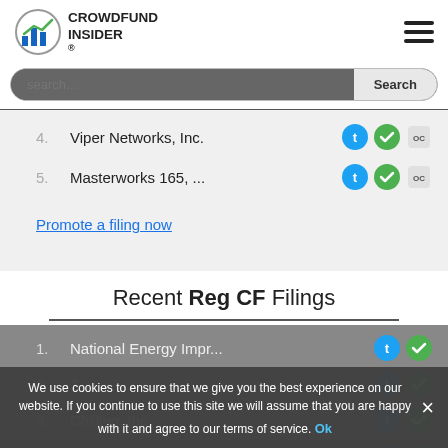CROWDFUND INSIDER
4. Viper Networks, Inc.
5. Masterworks 165, ...
Promote a filing now
Recent Reg CF Filings
1. National Energy Impr...
2. T...
3. Chilling, Inc
4. 92East LLC
We use cookies to ensure that we give you the best experience on our website. If you continue to use this site we will assume that you are happy with it and agree to our terms of service.